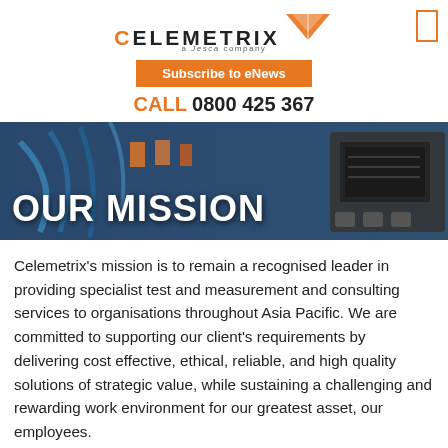[Figure (logo): Celemetrix logo with orange chevron/arrow graphic and 'a Jesca company' subtext]
Subscribe to eNews
CALL 0800 425 367
[Figure (photo): Background photo of electrical wiring and test equipment with 'OUR MISSION' text overlay]
Celemetrix's mission is to remain a recognised leader in providing specialist test and measurement and consulting services to organisations throughout Asia Pacific. We are committed to supporting our client's requirements by delivering cost effective, ethical, reliable, and high quality solutions of strategic value, while sustaining a challenging and rewarding work environment for our greatest asset, our employees.